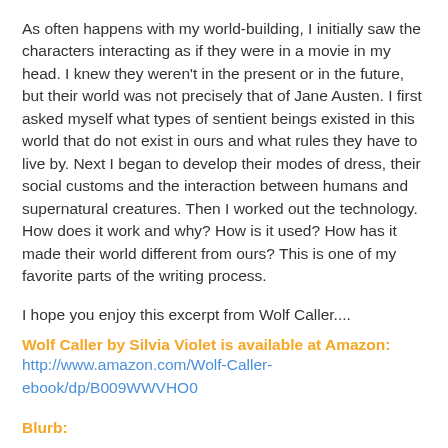As often happens with my world-building, I initially saw the characters interacting as if they were in a movie in my head. I knew they weren't in the present or in the future, but their world was not precisely that of Jane Austen. I first asked myself what types of sentient beings existed in this world that do not exist in ours and what rules they have to live by. Next I began to develop their modes of dress, their social customs and the interaction between humans and supernatural creatures. Then I worked out the technology. How does it work and why? How is it used? How has it made their world different from ours? This is one of my favorite parts of the writing process.
I hope you enjoy this excerpt from Wolf Caller....
Wolf Caller by Silvia Violet is available at Amazon: http://www.amazon.com/Wolf-Caller-ebook/dp/B009WWVHO0
Blurb: